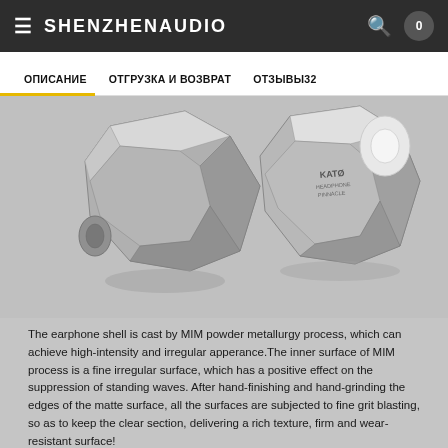SHENZHENAUDIO
ОПИСАНИЕ | ОТГРУЗКА И ВОЗВРАТ | ОТЗЫВЫ32
[Figure (photo): Black and white photo of KATo earphone shells showing their faceted metallic angular design from behind]
The earphone shell is cast by MIM powder metallurgy process, which can achieve high-intensity and irregular apperance.The inner surface of MIM process is a fine irregular surface, which has a positive effect on the suppression of standing waves. After hand-finishing and hand-grinding the edges of the matte surface, all the surfaces are subjected to fine grit blasting, so as to keep the clear section, delivering a rich texture, firm and wear-resistant surface!